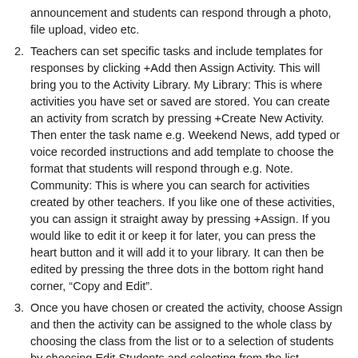announcement and students can respond through a photo, file upload, video etc.
Teachers can set specific tasks and include templates for responses by clicking +Add then Assign Activity. This will bring you to the Activity Library. My Library: This is where activities you have set or saved are stored. You can create an activity from scratch by pressing +Create New Activity. Then enter the task name e.g. Weekend News, add typed or voice recorded instructions and add template to choose the format that students will respond through e.g. Note.
Community: This is where you can search for activities created by other teachers. If you like one of these activities, you can assign it straight away by pressing +Assign. If you would like to edit it or keep it for later, you can press the heart button and it will add it to your library. It can then be edited by pressing the three dots in the bottom right hand corner, “Copy and Edit”.
Once you have chosen or created the activity, choose Assign and then the activity can be assigned to the whole class by choosing the class from the list or to a selection of students by choosing Edit Students and selecting from the list.
Teachers will see work appear on the left of their screen as it is submitted and can use the Approve, Send Back or Delete buttons and can leave written or typed feedback on student work which can be seen by the student and parent.